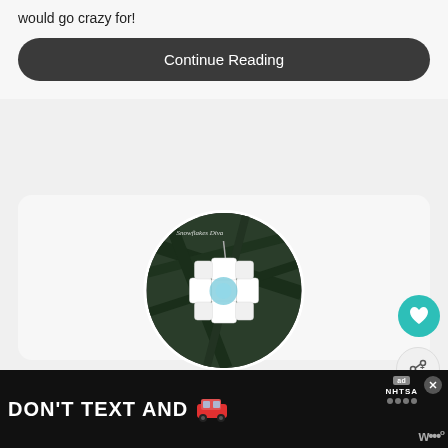would go crazy for!
Continue Reading
[Figure (photo): Circular photo of a puzzle piece snowflake ornament hanging on a Christmas tree branch with blue glitter, watermark text 'Snowflakes Diva' visible]
PUZZLE PIECE SNOWFLAKE ORNAMENT -
[Figure (infographic): WHAT'S NEXT panel showing Nativity Crafts for Kids thumbnail]
[Figure (infographic): DON'T TEXT AND [car emoji] advertisement banner with ad badge and NHTSA logo]